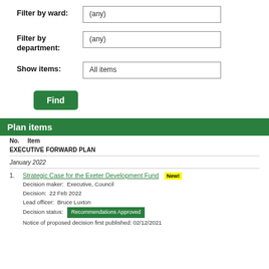Filter by ward: (any)
Filter by department: (any)
Show items: All items
Find
Plan items
| No. | Item |
| --- | --- |
|  | EXECUTIVE FORWARD PLAN |
|  | January 2022 |
| 1. | Strategic Case for the Exeter Development Fund  New!
Decision maker: Executive, Council
Decision: 22 Feb 2022
Lead officer: Bruce Luxton
Decision status: Recommendations Approved
Notice of proposed decision first published: 02/12/2021 |